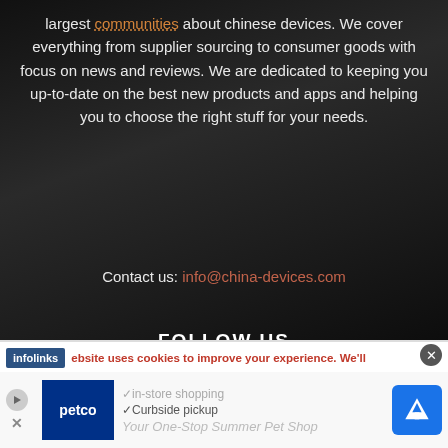largest communities about chinese devices. We cover everything from supplier sourcing to consumer goods with focus on news and reviews. We are dedicated to keeping you up-to-date on the best new products and apps and helping you to choose the right stuff for your needs.
Contact us: info@china-devices.com
FOLLOW US
[Figure (illustration): Three social media icon buttons: Facebook (f), Twitter (bird), YouTube (play button), displayed as dark bordered squares]
[Figure (screenshot): Advertisement banner at bottom of page: infolinks logo, cookie consent text, Petco advertisement with in-store shopping and curbside pickup checklist items, navigation arrow icon]